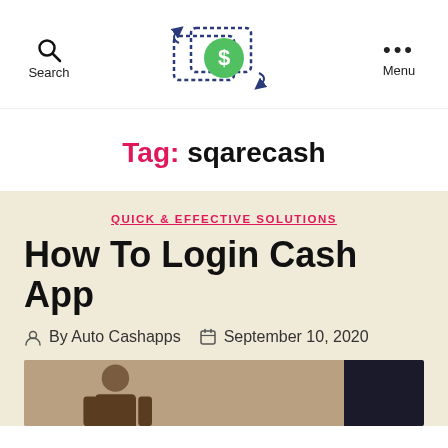Search | [Logo] | Menu
Tag: sqarecash
QUICK & EFFECTIVE SOLUTIONS
How To Login Cash App
By Auto Cashapps  September 10, 2020
[Figure (photo): Partial view of a person and a dark background image at the bottom of the page]